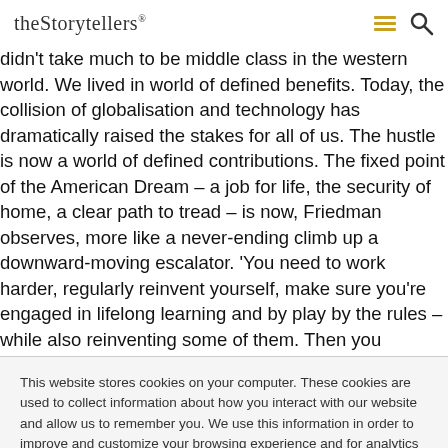theStorytellers
didn't take much to be middle class in the western world. We lived in world of defined benefits. Today, the collision of globalisation and technology has dramatically raised the stakes for all of us. The hustle is now a world of defined contributions. The fixed point of the American Dream – a job for life, the security of home, a clear path to tread – is now, Friedman observes, more like a never-ending climb up a downward-moving escalator. 'You need to work harder, regularly reinvent yourself, make sure you're engaged in lifelong learning and by play by the rules – while also reinventing some of them. Then you
This website stores cookies on your computer. These cookies are used to collect information about how you interact with our website and allow us to remember you. We use this information in order to improve and customize your browsing experience and for analytics and metrics about our visitors both on this website and other media. To find out more about the cookies we use, see our Privacy Policy.
Accept | Don't ask me again